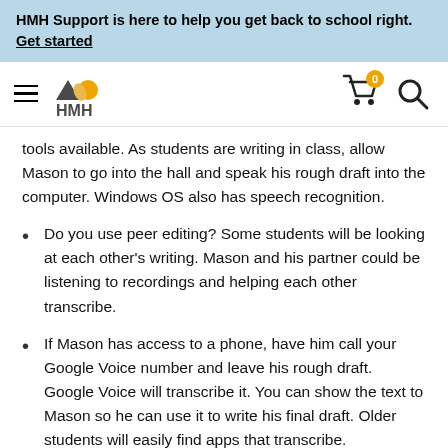HMH Support is here to help you get back to school right. Get started
[Figure (logo): HMH logo with hamburger menu, cart icon with 0 badge, and search icon]
tools available. As students are writing in class, allow Mason to go into the hall and speak his rough draft into the computer. Windows OS also has speech recognition.
Do you use peer editing? Some students will be looking at each other's writing. Mason and his partner could be listening to recordings and helping each other transcribe.
If Mason has access to a phone, have him call your Google Voice number and leave his rough draft. Google Voice will transcribe it. You can show the text to Mason so he can use it to write his final draft. Older students will easily find apps that transcribe.